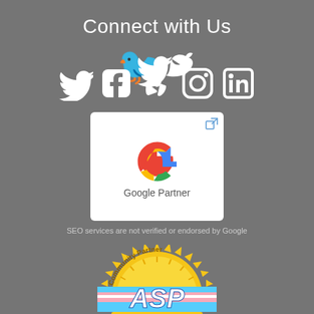Connect with Us
[Figure (illustration): Row of social media icons (Twitter, Facebook, Yelp, Instagram, LinkedIn) in white on gray background]
[Figure (logo): Google Partner badge - white card with Google G logo and text 'Google Partner', with external link icon in top right corner]
SEO services are not verified or endorsed by Google
[Figure (logo): ASP Community Partner badge - gold sunburst seal with rainbow/trans flag stripe colors and 'ASP' lettering, text 'hasOptimization' at bottom]